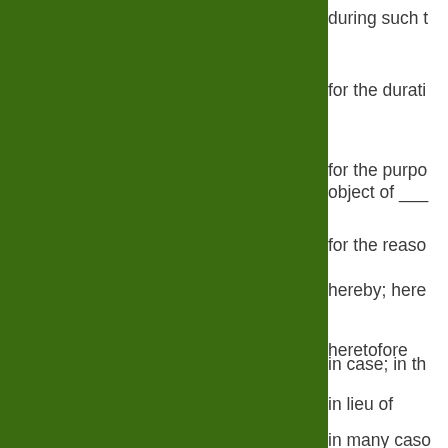[Figure (other): Large dark green rectangular panel occupying the left portion of the page]
during such t
for the durati
for the purpo
object of ___
for the reaso
hereby; here
heretofore
in case; in th
in lieu of
in many caso